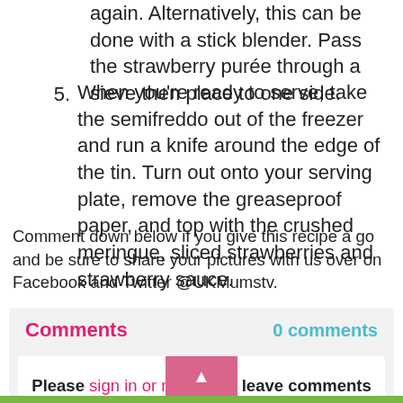again. Alternatively, this can be done with a stick blender. Pass the strawberry purée through a sieve then place to one side.
5. When you're ready to serve, take the semifreddo out of the freezer and run a knife around the edge of the tin. Turn out onto your serving plate, remove the greaseproof paper, and top with the crushed meringue, sliced strawberries and strawberry sauce.
Comment down below if you give this recipe a go and be sure to share your pictures with us over on Facebook and Twitter @UKMumstv.
Comments
0 comments
Please sign in or register to leave comments on this page.